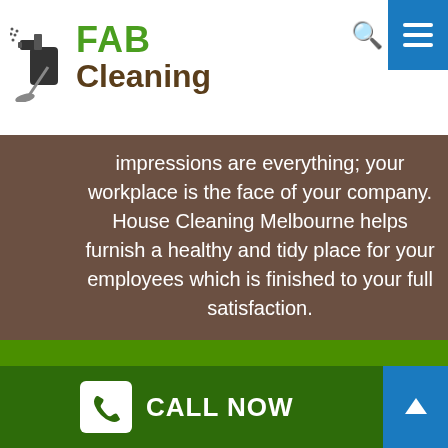[Figure (logo): FAB Cleaning logo with spray bottle icon]
impressions are everything; your workplace is the face of your company. House Cleaning Melbourne helps furnish a healthy and tidy place for your employees which is finished to your full satisfaction.
[Figure (illustration): White hand/glove icon on green background]
MOVE IN/OUT
Allow the professionals at House Cleaning
CALL NOW